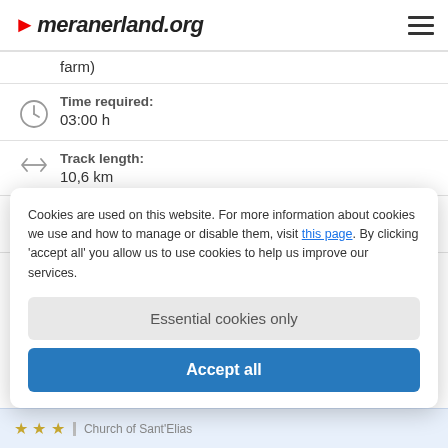meranerland.org
farm)
Time required: 03:00 h
Track length: 10,6 km
Altitude: from 1.357 m to 1.520 m
Cookies are used on this website. For more information about cookies we use and how to manage or disable them, visit this page. By clicking 'accept all' you allow us to use cookies to help us improve our services.
Essential cookies only
Accept all
Church of Sant'Elias